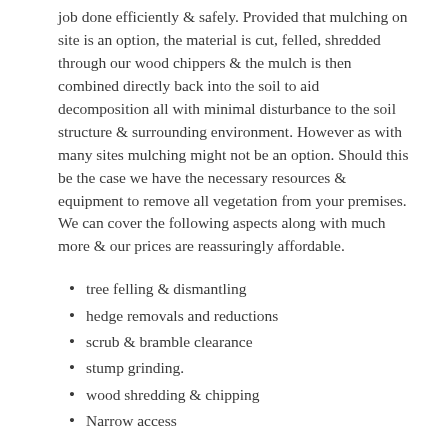job done efficiently & safely. Provided that mulching on site is an option, the material is cut, felled, shredded through our wood chippers & the mulch is then combined directly back into the soil to aid decomposition all with minimal disturbance to the soil structure & surrounding environment. However as with many sites mulching might not be an option. Should this be the case we have the necessary resources & equipment to remove all vegetation from your premises. We can cover the following aspects along with much more & our prices are reassuringly affordable.
tree felling & dismantling
hedge removals and reductions
scrub & bramble clearance
stump grinding.
wood shredding & chipping
Narrow access